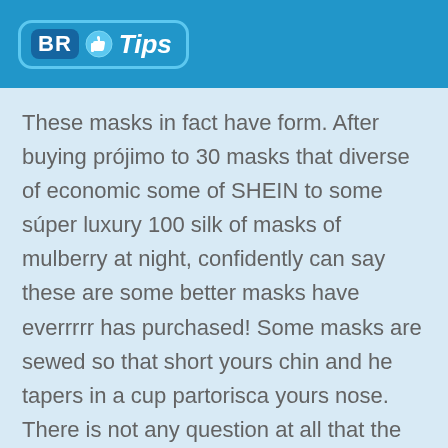BR Tips
These masks in fact have form. After buying prójimo to 30 masks that diverse of economic some of SHEIN to some súper luxury 100 silk of masks of mulberry at night, confidently can say these are some better masks have everrrrr has purchased! Some masks are sewed so that short yours chin and he tapers in a cup partorisca yours nose. There is not any question at all that the side of a mask is an upper or fund. More, there are two discharges and reasons has the form maintains his form firmly. So much, a mask does not feel claustrophobic at all. Also! They look better way that any one another dorky patterned or bond-